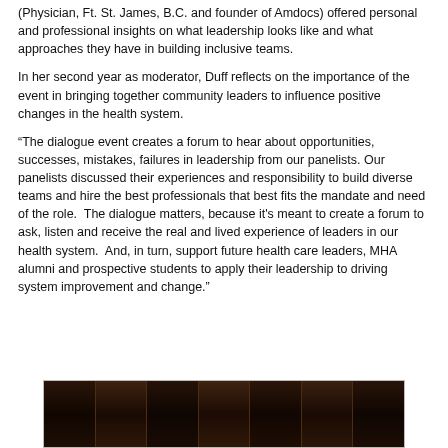(Physician, Ft. St. James, B.C. and founder of Amdocs) offered personal and professional insights on what leadership looks like and what approaches they have in building inclusive teams.
In her second year as moderator, Duff reflects on the importance of the event in bringing together community leaders to influence positive changes in the health system.
“The dialogue event creates a forum to hear about opportunities, successes, mistakes, failures in leadership from our panelists. Our panelists discussed their experiences and responsibility to build diverse teams and hire the best professionals that best fits the mandate and need of the role.  The dialogue matters, because it's meant to create a forum to ask, listen and receive the real and lived experience of leaders in our health system.  And, in turn, support future health care leaders, MHA alumni and prospective students to apply their leadership to driving system improvement and change.”
[Figure (photo): Dark brown/black photo image, partially visible at the bottom of the page, appears to show wooden panels or curtains in a darkened room.]